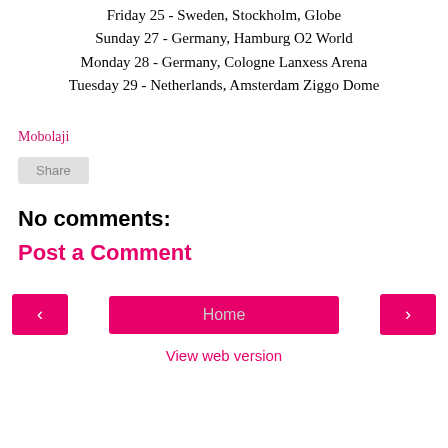Friday 25 - Sweden, Stockholm, Globe
Sunday 27 - Germany, Hamburg O2 World
Monday 28 - Germany, Cologne Lanxess Arena
Tuesday 29 - Netherlands, Amsterdam Ziggo Dome
Mobolaji
Share
No comments:
Post a Comment
‹
Home
›
View web version